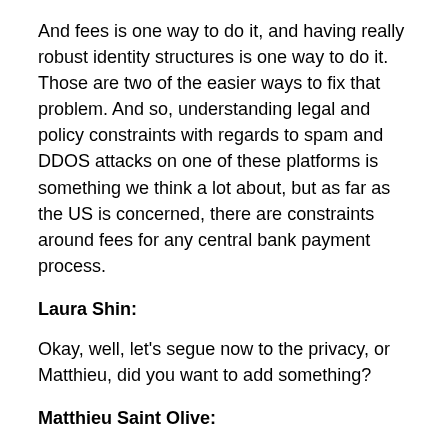And fees is one way to do it, and having really robust identity structures is one way to do it. Those are two of the easier ways to fix that problem. And so, understanding legal and policy constraints with regards to spam and DDOS attacks on one of these platforms is something we think a lot about, but as far as the US is concerned, there are constraints around fees for any central bank payment process.
Laura Shin:
Okay, well, let's segue now to the privacy, or Matthieu, did you want to add something?
Matthieu Saint Olive:
Yeah, just wanted to add one thing, is you are comparing the transaction fee in public blockchain and CBDC. If it is built on private blockchains, even if we still have what we call gas